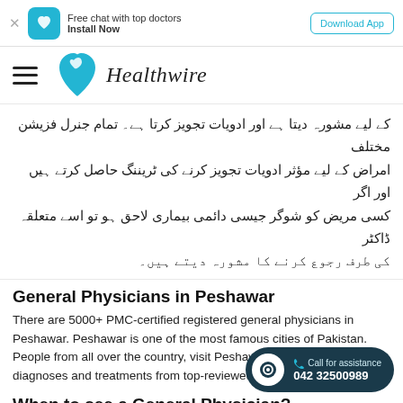Free chat with top doctors Install Now | Download App
[Figure (logo): Healthwire logo with teal heart/leaf icon and italic text]
کے لیے مشورہ دیتا ہے اور ادویات تجویز کرتا ہے۔ تمام جنرل فزیشن مختلف امراض کے لیے مؤثر ادویات تجویز کرنے کی ٹریننگ حاصل کرتے ہیں اور اگر کسی مریض کو شوگر جیسی دائمی بیماری لاحق ہو تو اسے متعلقہ ڈاکٹر کی طرف رجوع کرنے کا مشورہ دیتے ہیں۔
General Physicians in Peshawar
There are 5000+ PMC-certified registered general physicians in Peshawar. Peshawar is one of the most famous cities of Pakistan. People from all over the country, visit Peshawar to get the latest diagnoses and treatments from top-reviewed general physicians.
When to see a General Physician?
You can consult with a general physician for common ailments like fever, common cold, allergies,